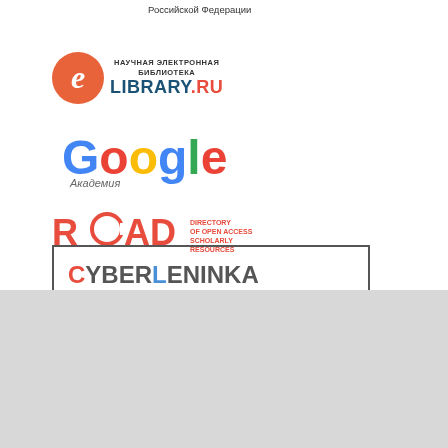Российской Федерации
[Figure (logo): eLibrary.ru - Научная электронная библиотека logo with orange E symbol]
[Figure (logo): Google Академия (Google Scholar) logo]
[Figure (logo): ROAD logo in red text with small descriptive text]
[Figure (logo): CyberLeninka logo in bordered box]
Platform & workflow by OJS / PKP